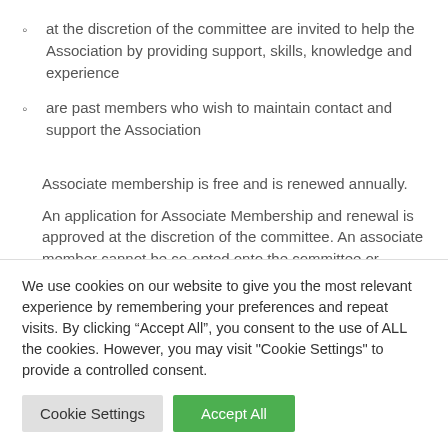at the discretion of the committee are invited to help the Association by providing support, skills, knowledge and experience
are past members who wish to maintain contact and support the Association
Associate membership is free and is renewed annually.
An application for Associate Membership and renewal is approved at the discretion of the committee. An associate member cannot be co-opted onto the committee or undertake another role as specified in the constitution.
We use cookies on our website to give you the most relevant experience by remembering your preferences and repeat visits. By clicking “Accept All”, you consent to the use of ALL the cookies. However, you may visit "Cookie Settings" to provide a controlled consent.